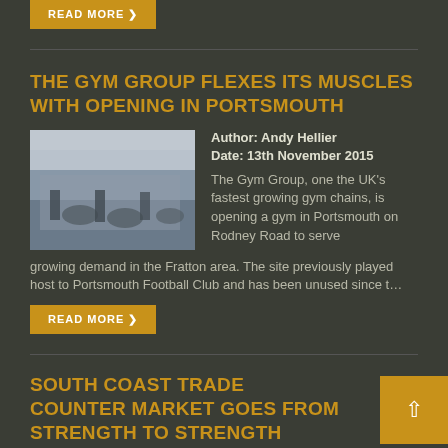READ MORE
THE GYM GROUP FLEXES ITS MUSCLES WITH OPENING IN PORTSMOUTH
[Figure (photo): People using rowing machines in a gym]
Author: Andy Hellier
Date: 13th November 2015
The Gym Group, one the UK's fastest growing gym chains, is opening a gym in Portsmouth on Rodney Road to serve growing demand in the Fratton area.  The site previously played host to Portsmouth Football Club and has been unused since t...
READ MORE
SOUTH COAST TRADE COUNTER MARKET GOES FROM STRENGTH TO STRENGTH
[Figure (photo): Coastal trade market building exterior]
Author: Matthew Poplett
Date: 13th November 2015